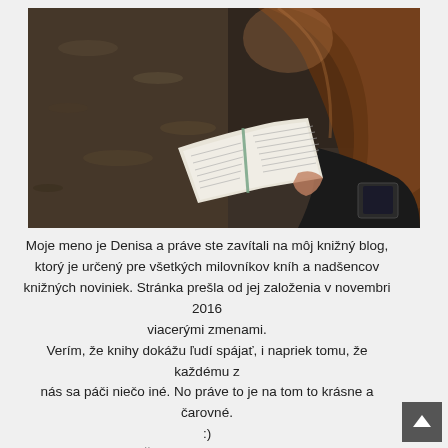[Figure (photo): A young woman with long brown hair seen from behind, reading an open book outdoors on a gravel/leaf path background.]
Moje meno je Denisa a práve ste zavítali na môj knižný blog, ktorý je určený pre všetkých milovníkov kníh a nadšencov knižných noviniek. Stránka prešla od jej založenia v novembri 2016 viacerými zmenami.
Verím, že knihy dokážu ľudí spájať, i napriek tomu, že každému z nás sa páči niečo iné. No práve to je na tom to krásne a čarovné.
:)
Ďakujem za podporu!